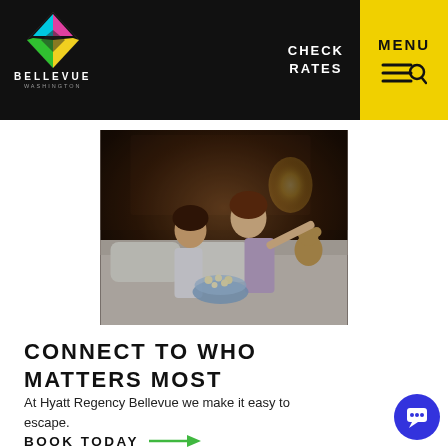BELLEVUE WASHINGTON — CHECK RATES — MENU
[Figure (photo): Two young children sitting on a hotel bed watching TV, with a bowl of popcorn, in a warmly lit hotel room. Stuffed animals visible in background.]
CONNECT TO WHO MATTERS MOST
At Hyatt Regency Bellevue we make it easy to escape.
BOOK TODAY →